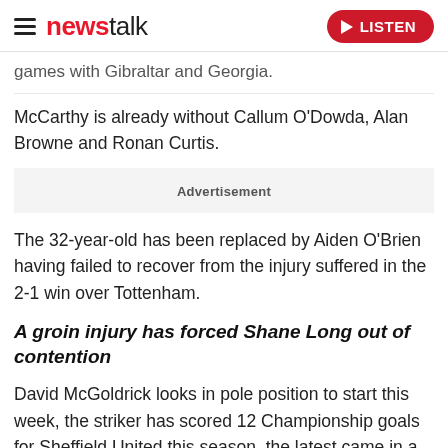newstalk — LISTEN
games with Gibraltar and Georgia.
McCarthy is already without Callum O'Dowda, Alan Browne and Ronan Curtis.
Advertisement
The 32-year-old has been replaced by Aiden O'Brien having failed to recover from the injury suffered in the 2-1 win over Tottenham.
A groin injury has forced Shane Long out of contention
David McGoldrick looks in pole position to start this week, the striker has scored 12 Championship goals for Sheffield United this season, the latest came in a recent 2-0 win over Brentford.